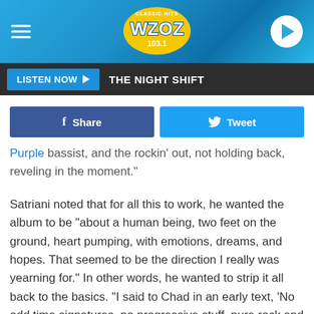[Figure (screenshot): WZOZ Classic Hits 103.1 radio station app header with logo, hamburger menu, and play button on blue gradient background]
LISTEN NOW ▶  THE NIGHT SHIFT
f Share   🐦 Tweet
Purple bassist, and the rockin' out, not holding back, reveling in the moment."
Satriani noted that for all this to work, he wanted the album to be "about a human being, two feet on the ground, heart pumping, with emotions, dreams, and hopes. That seemed to be the direction I really was yearning for." In other words, he wanted to strip it all back to the basics. "I said to Chad in an early text, 'No odd time signatures, no progressive stuff, pure rock and soul.' The last two records really showed that I was